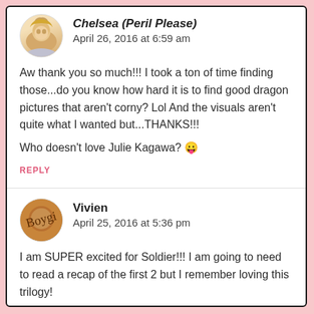Chelsea (Peril Please)
April 26, 2016 at 6:59 am
Aw thank you so much!!! I took a ton of time finding those...do you know how hard it is to find good dragon pictures that aren't corny? Lol And the visuals aren't quite what I wanted but...THANKS!!!
Who doesn't love Julie Kagawa? 😛
REPLY
Vivien
April 25, 2016 at 5:36 pm
I am SUPER excited for Soldier!!! I am going to need to read a recap of the first 2 but I remember loving this trilogy!